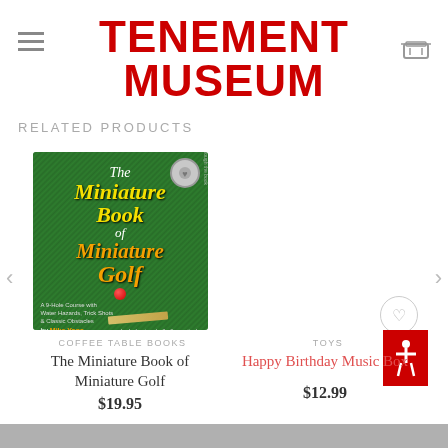TENEMENT MUSEUM
RELATED PRODUCTS
[Figure (photo): Book cover: The Miniature Book of Miniature Golf, green background with yellow and orange text, by Mike Yago]
COFFEE TABLE BOOKS
The Miniature Book of Miniature Golf
$19.95
[Figure (photo): Happy Birthday Music Box product - a mechanical music box with handle and yellow retail packaging, shown with a heart/wishlist button and accessibility icon]
TOYS
Happy Birthday Music Box
$12.99